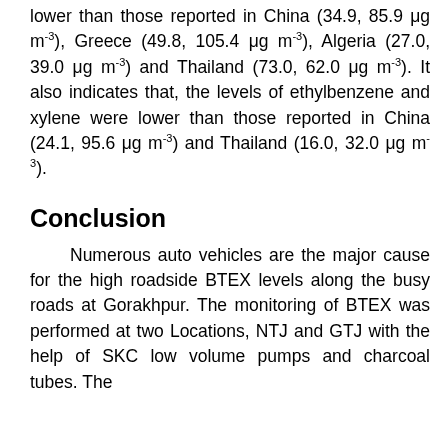lower than those reported in China (34.9, 85.9 μg m⁻³), Greece (49.8, 105.4 μg m⁻³), Algeria (27.0, 39.0 μg m⁻³) and Thailand (73.0, 62.0 μg m⁻³). It also indicates that, the levels of ethylbenzene and xylene were lower than those reported in China (24.1, 95.6 μg m⁻³) and Thailand (16.0, 32.0 μg m⁻³).
Conclusion
Numerous auto vehicles are the major cause for the high roadside BTEX levels along the busy roads at Gorakhpur. The monitoring of BTEX was performed at two Locations, NTJ and GTJ with the help of SKC low volume pumps and charcoal tubes. The...